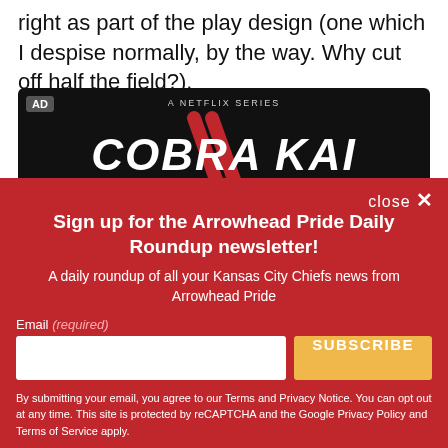right as part of the play design (one which I despise normally, by the way. Why cut off half the field?).
[Figure (screenshot): Cobra Kai Netflix series advertisement banner with black background and red stylized logo text]
close ×
Sign up for the Arrowhead Pride Daily Roundup newsletter!
A daily roundup of all your Kansas City Chiefs news from Arrowhead Pride
Email (required)
SUBSCRIBE
By submitting your email, you agree to our Terms and Privacy Notice. You can opt out at any time. This site is protected by reCAPTCHA and the Google Privacy Policy and Terms of Service apply.